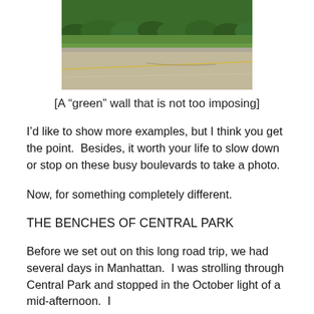[Figure (photo): A road with a wide paved surface, a yellow center line, flanked by a dense green hedge wall on the left and a grassy area, taken from a car window or roadside perspective.]
[A “green” wall that is not too imposing]
I’d like to show more examples, but I think you get the point.  Besides, it worth your life to slow down or stop on these busy boulevards to take a photo.
Now, for something completely different.
THE BENCHES OF CENTRAL PARK
Before we set out on this long road trip, we had several days in Manhattan.  I was strolling through Central Park and stopped in the October light of a mid-afternoon.  I